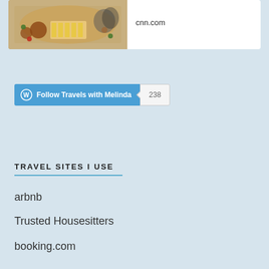[Figure (photo): Food photo showing plates with fried chicken, french fries, and colorful candies on a white background]
cnn.com
[Figure (other): WordPress Follow button reading 'Follow Travels with Melinda' with follower count of 238]
TRAVEL SITES I USE
arbnb
Trusted Housesitters
booking.com